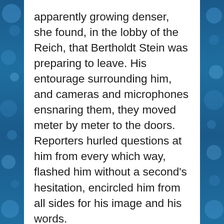apparently growing denser, she found, in the lobby of the Reich, that Bertholdt Stein was preparing to leave. His entourage surrounding him, and cameras and microphones ensnaring them, they moved meter by meter to the doors. Reporters hurled questions at him from every which way, flashed him without a second's hesitation, encircled him from all sides for his image and his words.
At this sight, the assistant panicked. She was too late.
This was not a case of a woman in a